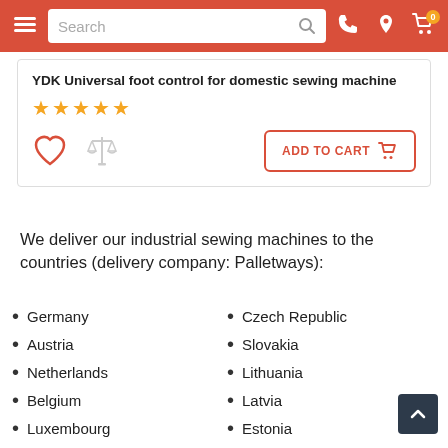Search bar with navigation icons
YDK Universal foot control for domestic sewing machine
★★★★★
ADD TO CART
We deliver our industrial sewing machines to the countries (delivery company: Palletways):
Germany
Austria
Netherlands
Belgium
Luxembourg
United Kingdom
Czech Republic
Slovakia
Lithuania
Latvia
Estonia
Poland